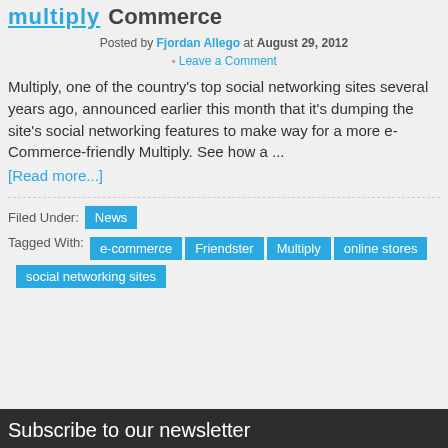Multiply Commerce
Posted by Fjordan Allego at August 29, 2012
Leave a Comment
Multiply, one of the country's top social networking sites several years ago, announced earlier this month that it's dumping the site's social networking features to make way for a more e-Commerce-friendly Multiply. See how a ... [Read more...]
Filed Under: News
Tagged With: e-commerce, Friendster, Multiply, online stores, social networking sites
Subscribe to our newsletter